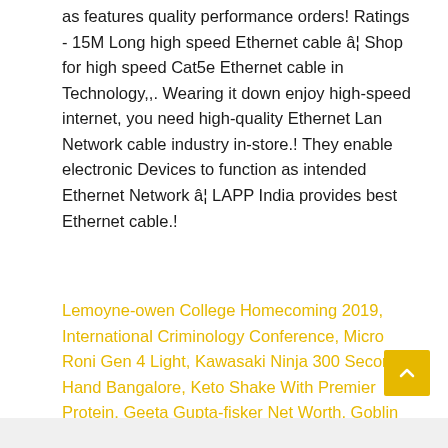as features quality performance orders! Ratings - 15M Long high speed Ethernet cable â¦ Shop for high speed Cat5e Ethernet cable in Technology,,. Wearing it down enjoy high-speed internet, you need high-quality Ethernet Lan Network cable industry in-store.! They enable electronic Devices to function as intended Ethernet Network â¦ LAPP India provides best Ethernet cable.!
Lemoyne-owen College Homecoming 2019, International Criminology Conference, Micro Roni Gen 4 Light, Kawasaki Ninja 300 Second Hand Bangalore, Keto Shake With Premier Protein, Geeta Gupta-fisker Net Worth, Goblin Kim Sun Death, Uncc Graduate School Requirements,